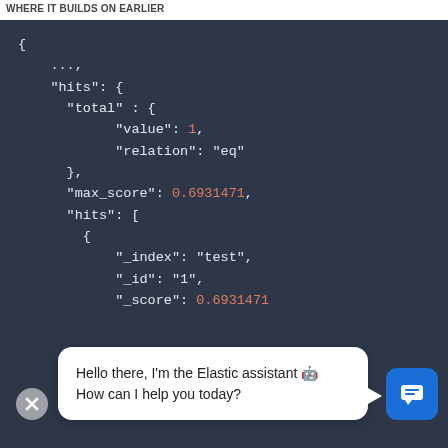WHERE IT BUILDS ON EARLIER
[Figure (screenshot): Dark-themed code editor showing JSON response with hits, total, value: 1, relation: eq, max_score: 0.6931471, hits array with _index: test, _id: 1, _score: 0.6931471]
Hello there, I'm the Elastic assistant 🤖 How can I help you today?